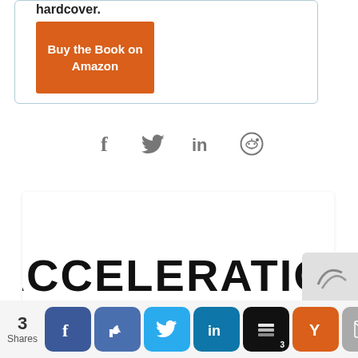hardcover.
[Figure (other): Orange 'Buy the Book on Amazon' button]
[Figure (other): Social share icons: Facebook, Twitter, LinkedIn, Reddit]
[Figure (other): Book cover image showing the word ACCELERATION in large black text]
[Figure (other): Social share bar at bottom with Facebook, Like, Twitter, LinkedIn, Buffer (3), Y Combinator, Mail buttons, and share count of 3]